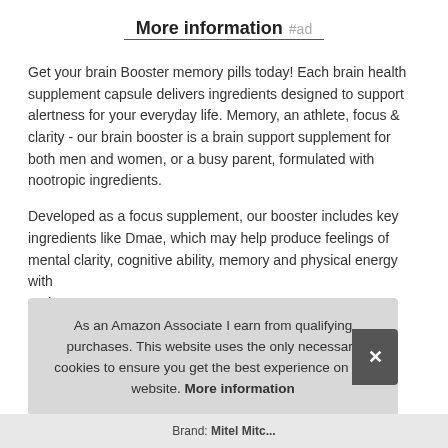More information #ad
Get your brain Booster memory pills today! Each brain health supplement capsule delivers ingredients designed to support alertness for your everyday life. Memory, an athlete, focus & clarity - our brain booster is a brain support supplement for both men and women, or a busy parent, formulated with nootropic ingredients.
Developed as a focus supplement, our booster includes key ingredients like Dmae, which may help produce feelings of mental clarity, cognitive ability, memory and physical energy with...and...boo...
As an Amazon Associate I earn from qualifying purchases. This website uses the only necessary cookies to ensure you get the best experience on our website. More information
Brand: Mitel Mitc...